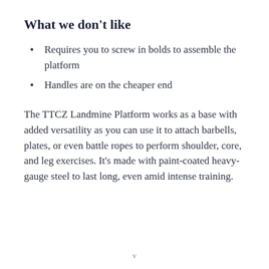What we don't like
Requires you to screw in bolds to assemble the platform
Handles are on the cheaper end
The TTCZ Landmine Platform works as a base with added versatility as you can use it to attach barbells, plates, or even battle ropes to perform shoulder, core, and leg exercises. It's made with paint-coated heavy-gauge steel to last long, even amid intense training.
v